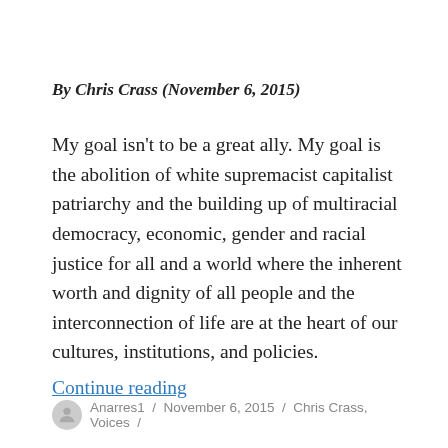By Chris Crass (November 6, 2015)
My goal isn't to be a great ally. My goal is the abolition of white supremacist capitalist patriarchy and the building up of multiracial democracy, economic, gender and racial justice for all and a world where the inherent worth and dignity of all people and the interconnection of life are at the heart of our cultures, institutions, and policies.
Continue reading
Anarres1 / November 6, 2015 / Chris Crass, Voices /